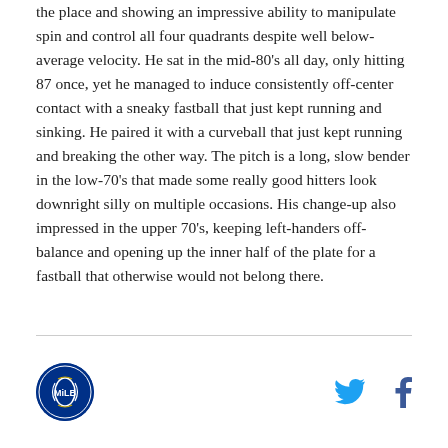the place and showing an impressive ability to manipulate spin and control all four quadrants despite well below-average velocity. He sat in the mid-80's all day, only hitting 87 once, yet he managed to induce consistently off-center contact with a sneaky fastball that just kept running and sinking. He paired it with a curveball that just kept running and breaking the other way. The pitch is a long, slow bender in the low-70's that made some really good hitters look downright silly on multiple occasions. His change-up also impressed in the upper 70's, keeping left-handers off-balance and opening up the inner half of the plate for a fastball that otherwise would not belong there.
[Figure (logo): Circular sports league logo with blue background]